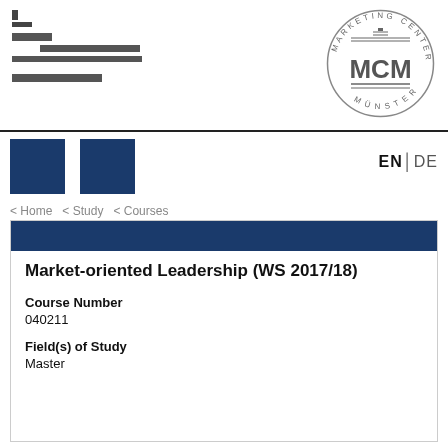[Figure (logo): MCM Marketing Center Münster circular logo with MCM text in center]
Marketing Center Münster (MCM) website header with logo lines and MCM logo
EN | DE
< Home < Study < Courses
Market-oriented Leadership (WS 2017/18)
Course Number
040211
Field(s) of Study
Master